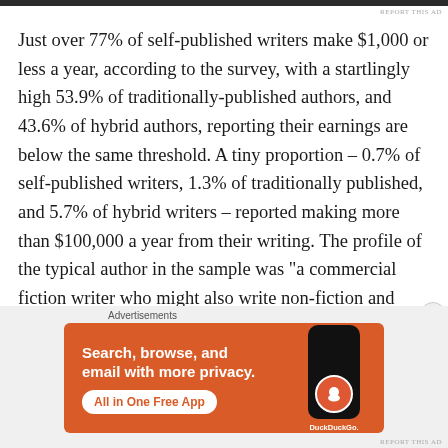REPORT THIS AD
Just over 77% of self-published writers make $1,000 or less a year, according to the survey, with a startlingly high 53.9% of traditionally-published authors, and 43.6% of hybrid authors, reporting their earnings are below the same threshold. A tiny proportion – 0.7% of self-published writers, 1.3% of traditionally published, and 5.7% of hybrid writers – reported making more than $100,000 a year from their writing. The profile of the typical author in the sample was “a commercial fiction writer who might also write non-fiction and who had a project in the works that might soon
Advertisements
[Figure (other): DuckDuckGo advertisement banner: orange background with text 'Search, browse, and email with more privacy. All in One Free App' and an image of a smartphone with the DuckDuckGo logo]